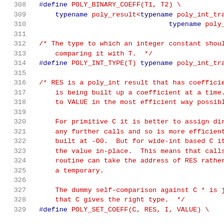[Figure (screenshot): Source code listing showing C preprocessor macros and comments for poly_int arithmetic, lines 308-329, with syntax highlighting: line numbers in gray, keywords in dark blue, code/comments in dark red.]